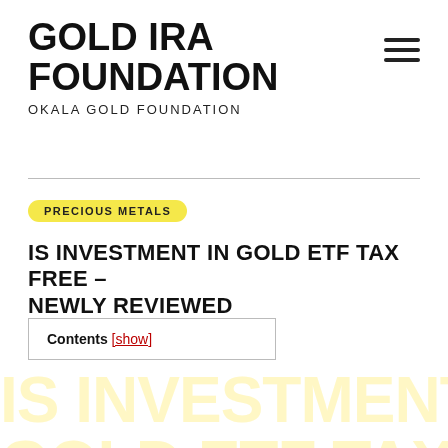GOLD IRA FOUNDATION
OKALA GOLD FOUNDATION
PRECIOUS METALS
IS INVESTMENT IN GOLD ETF TAX FREE – NEWLY REVIEWED
Contents [show]
[Figure (other): Large watermark text reading 'IS INVESTMENT IN GOLD ETF TAX FREE' in pale yellow across the lower portion of the page]